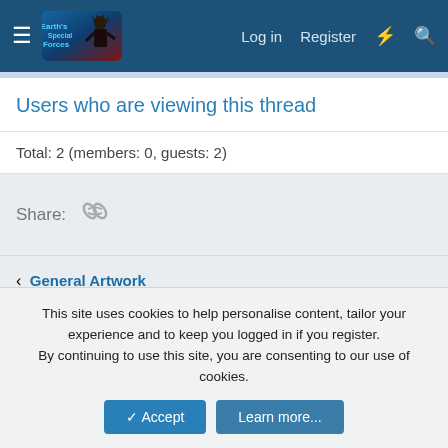ESF forum header with Log in, Register, and search navigation
Users who are viewing this thread
Total: 2 (members: 0, guests: 2)
Share:
< General Artwork
ESF | Contact us | Terms and rules | Privacy policy | Help | Home | RSS | Forum software by XenForo® © 2010-2020 XenForo Ltd. | Discord Integration © Jason Axelrod of 8WAYRUN
This site uses cookies to help personalise content, tailor your experience and to keep you logged in if you register. By continuing to use this site, you are consenting to our use of cookies.